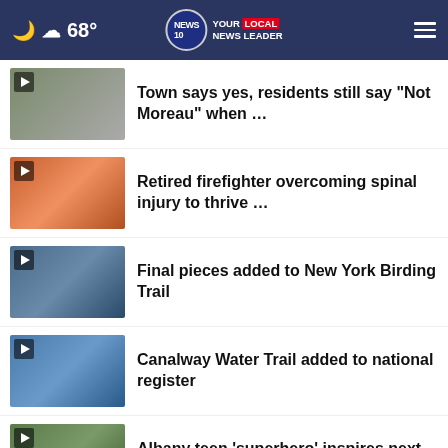68° NEWS 10 YOUR LOCAL NEWS LEADER
Town says yes, residents still say "Not Moreau" when …
Retired firefighter overcoming spinal injury to thrive …
Final pieces added to New York Birding Trail
Canalway Water Trail added to national register
Albany teen 'superhero' inspires next generation …
More Stories ›